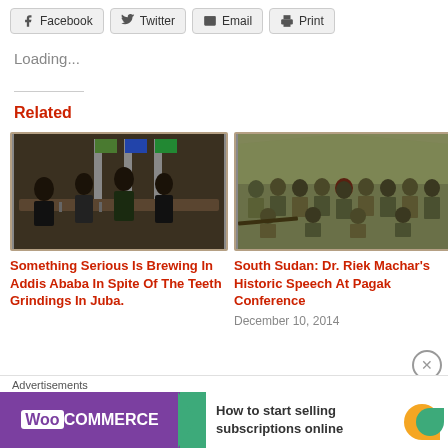Facebook | Twitter | Email | Print
Loading...
Related
[Figure (photo): Group of officials seated and standing at a conference table with flags in background, Addis Ababa meeting scene]
Something Serious Is Brewing In Addis Ababa In Spite Of The Teeth Grindings In Juba.
[Figure (photo): Group of soldiers in camouflage uniforms posing together outdoors, tents visible in background - Pagak Conference]
South Sudan: Dr. Riek Machar's Historic Speech At Pagak Conference
December 10, 2014
Advertisements — WooCommerce: How to start selling subscriptions online